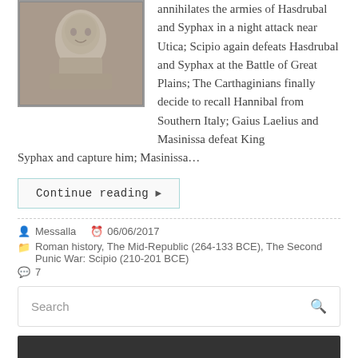[Figure (photo): Marble bust sculpture of a Roman figure, shown from the shoulders up, classical style]
annihilates the armies of Hasdrubal and Syphax in a night attack near Utica; Scipio again defeats Hasdrubal and Syphax at the Battle of Great Plains; The Carthaginians finally decide to recall Hannibal from Southern Italy; Gaius Laelius and Masinissa defeat King Syphax and capture him; Masinissa…
Continue reading ▶
Messalla   06/06/2017
Roman history, The Mid-Republic (264-133 BCE), The Second Punic War: Scipio (210-201 BCE)
7
Search